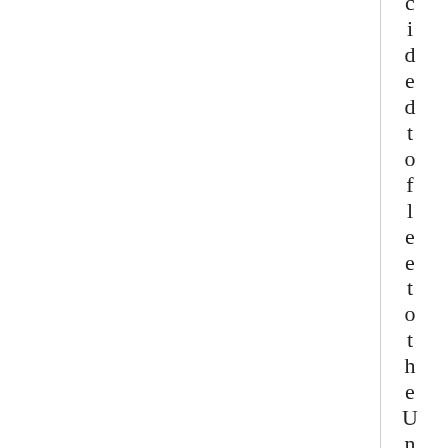cided to fleet to the United Sta t